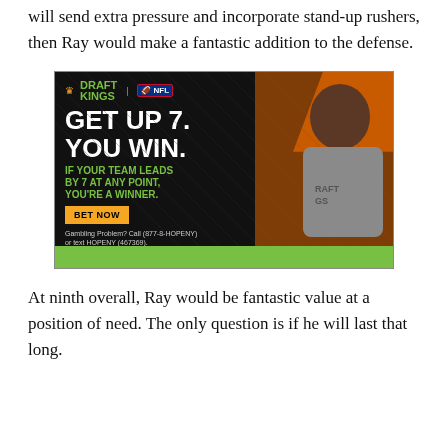will send extra pressure and incorporate stand-up rushers, then Ray would make a fantastic addition to the defense.
[Figure (other): DraftKings NFL advertisement featuring Kevin Hart. Text reads: GET UP 7. YOU WIN. IF YOUR TEAM LEADS BY 7 AT ANY POINT, YOU'RE A WINNER. BET NOW. Gambling Problem? Call (877-8-HOPENY) or text HOPENY (467369).]
At ninth overall, Ray would be fantastic value at a position of need. The only question is if he will last that long.